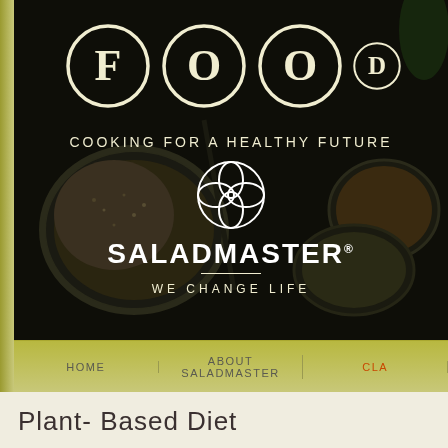[Figure (photo): Saladmaster branded banner with 'FOOD' letters in circles over a dark background showing spices and food ingredients. Subtitle 'COOKING FOR A HEALTHY FUTURE', Saladmaster logo and brand name, tagline 'WE CHANGE LIFE'.]
HOME | ABOUT SALADMASTER | CLA...
Plant- Based Diet